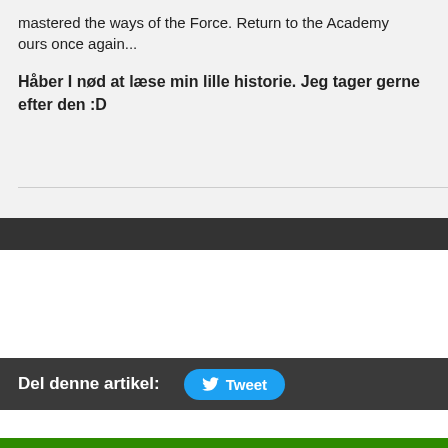mastered the ways of the Force. Return to the Academy ours once again...
Håber I nød at læse min lille historie. Jeg tager gerne efter den :D
Del denne artikel:
Tweet
Kommentarer
Der er kun en artikel for at bande